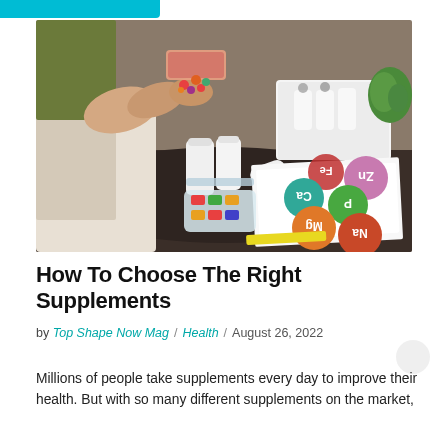[Figure (photo): Person pouring colorful supplement gummies from a container into their hand, with multiple white supplement bottles, a storage box, and a chart showing mineral abbreviations (Na, Mg, P, Ca, Fe, Zn) on a dark table.]
How To Choose The Right Supplements
by Top Shape Now Mag / Health / August 26, 2022
Millions of people take supplements every day to improve their health. But with so many different supplements on the market,